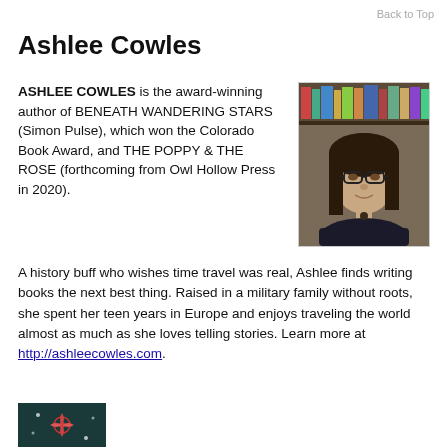Back to Top
Ashlee Cowles
ASHLEE COWLES is the award-winning author of BENEATH WANDERING STARS (Simon Pulse), which won the Colorado Book Award, and THE POPPY & THE ROSE (forthcoming from Owl Hollow Press in 2020).
[Figure (photo): Portrait photo of Ashlee Cowles, a woman with long dark hair and glasses, seated in front of bookshelves]
A history buff who wishes time travel was real, Ashlee finds writing books the next best thing. Raised in a military family without roots, she spent her teen years in Europe and enjoys traveling the world almost as much as she loves telling stories. Learn more at http://ashleecowles.com.
[Figure (photo): Book cover image with dark teal background showing decorative floral/star motifs in red and white]